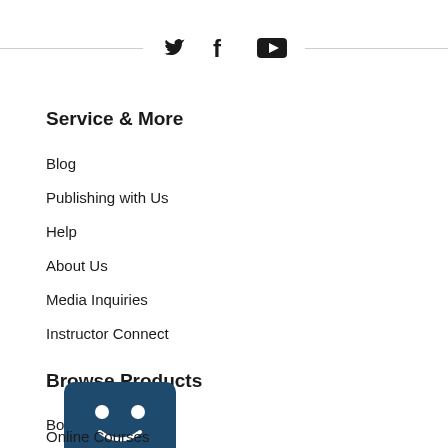[Figure (illustration): Social media icons (Twitter bird, Facebook f, YouTube play button) centered between two horizontal lines]
Service & More
Blog
Publishing with Us
Help
About Us
Media Inquiries
Instructor Connect
Browse Products
Books
[Figure (logo): Dark teal/navy rounded rectangle with a robot/bot face (two dot eyes and a curved smile)]
Online Courses
New Products